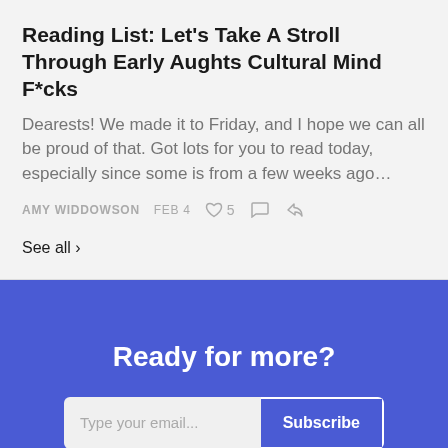Reading List: Let's Take A Stroll Through Early Aughts Cultural Mind F*cks
Dearests! We made it to Friday, and I hope we can all be proud of that. Got lots for you to read today, especially since some is from a few weeks ago…
AMY WIDDOWSON  FEB 4  ♡ 5  💬  ↗
See all ›
Ready for more?
Type your email...  Subscribe